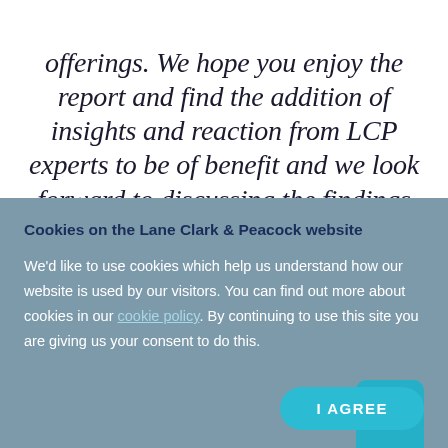offerings. We hope you enjoy the report and find the addition of insights and reaction from LCP experts to be of benefit and we look forward to discussing the findings with
Cookies on the Lane Clark & Peacock website
We'd like to use cookies which help us understand how our website is used by our visitors. You can find out more about cookies in our cookie policy. By continuing to use this site you are giving us your consent to do this.
I AGREE